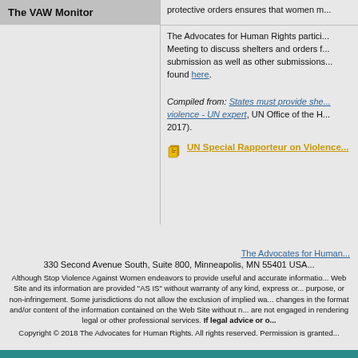The VAW Monitor
protective orders ensures that women m...
The Advocates for Human Rights participated in a Meeting to discuss shelters and orders for submission as well as other submissions... found here.
Compiled from: States must provide shelters for victims of violence - UN expert, UN Office of the H... 2017).
UN Special Rapporteur on Violence...
The Advocates for Human Rights
330 Second Avenue South, Suite 800, Minneapolis, MN 55401 USA
Although Stop Violence Against Women endeavors to provide useful and accurate information... If legal advice or o...
Copyright © 2018 The Advocates for Human Rights. All rights reserved. Permission is granted...